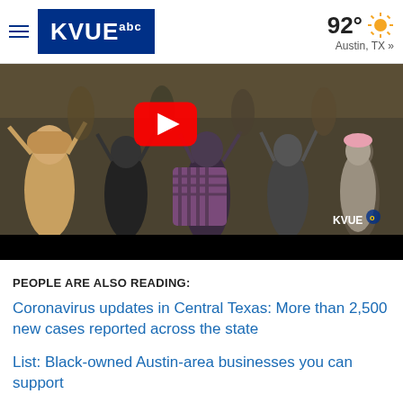KVUE abc — 92° Austin, TX »
[Figure (screenshot): Video thumbnail showing a crowd of protesters with a YouTube play button overlay. KVUE watermark visible in bottom right corner. Black bar at bottom of video player.]
PEOPLE ARE ALSO READING:
Coronavirus updates in Central Texas: More than 2,500 new cases reported across the state
List: Black-owned Austin-area businesses you can support
Some Williamson County commissioners call for Sheriff Robert Chody to resign